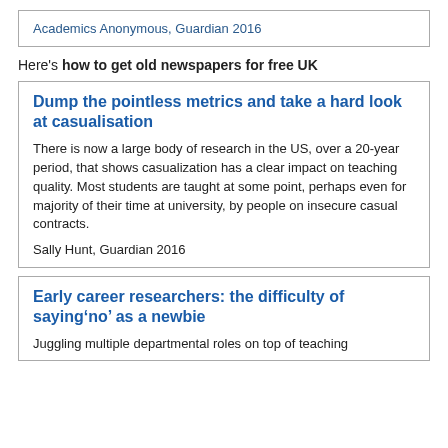Academics Anonymous, Guardian 2016
Here's how to get old newspapers for free UK
Dump the pointless metrics and take a hard look at casualisation
There is now a large body of research in the US, over a 20-year period, that shows casualization has a clear impact on teaching quality. Most students are taught at some point, perhaps even for majority of their time at university, by people on insecure casual contracts.
Sally Hunt, Guardian 2016
Early career researchers: the difficulty of saying’no’ as a newbie
Juggling multiple departmental roles on top of teaching